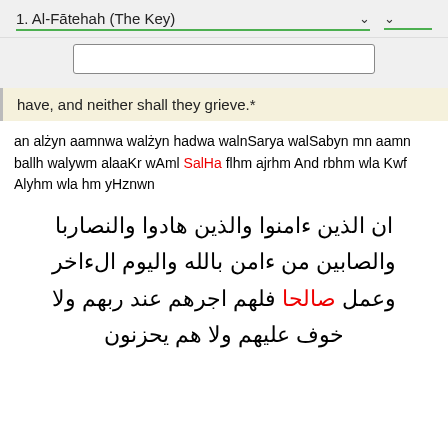1. Al-Fātehah (The Key)
have, and neither shall they grieve.*
an alżyn aamnwa walżyn hadwa walnSarya walSabyn mn aamn ballh walywm alaaKr wAml SalHa flhm ajrhm And rbhm wla Kwf Alyhm wla hm yHznwn
ان الذين ءامنوا والذين هادوا والنصاربا والصابين من ءامن بالله واليوم الءاخر وعمل صالحا فلهم اجرهم عند ربهم ولا خوف عليهم ولا هم يحزنون